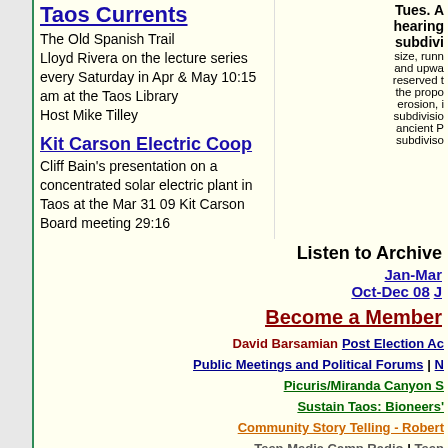Taos Currents
The Old Spanish Trail
Lloyd Rivera on the lecture series every Saturday in Apr & May 10:15 am at the Taos Library
Host Mike Tilley
Kit Carson Electric Coop
Cliff Bain's presentation on a concentrated solar electric plant in Taos at the Mar 31 09 Kit Carson Board meeting 29:16
Tues. A hearing subdivi size, runn and upwa reserved t the propo erosion, i subdivisio ancient P subdiviso
Listen to Archive
Jan-Mar
Oct-Dec 08 J
Become a Member
David Barsamian Post Election Ac
Public Meetings and Political Forums | N
Picuris/Miranda Canyon S
Sustain Taos: Bioneers'
Community Story Telling - Robert
Teen Media Camp Radio | Teen
Geoff Bryce's Acequia Reports | Lisa
Jasmine Bennett interviews
Mike Tilley's Taos Curre
Bob Romero's Historia de Taos
Flow